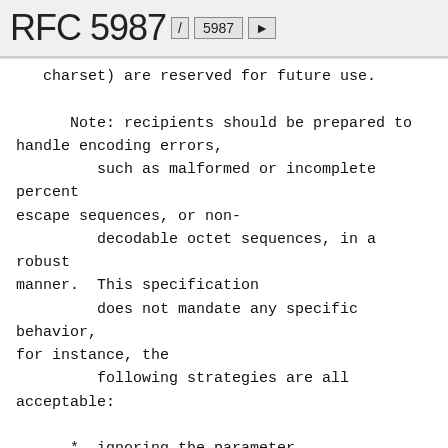RFC 5987 / 5987 ▶
charset) are reserved for future use.

      Note: recipients should be prepared to handle encoding errors,
         such as malformed or incomplete percent escape sequences, or non-
         decodable octet sequences, in a robust manner.  This specification
         does not mandate any specific behavior, for instance, the
         following strategies are all acceptable:
*  ignoring the parameter,
*  stripping a non-decodable octet sequence,